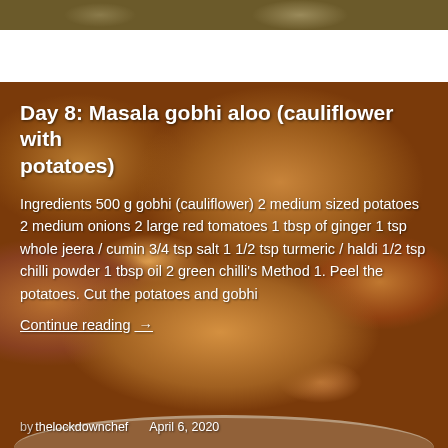[Figure (photo): Partial view of a cooked dish at the top of the page]
[Figure (photo): Photo of masala gobhi aloo (cauliflower with potatoes) served in a white plate, forming the background of the recipe card]
Day 8: Masala gobhi aloo (cauliflower with potatoes)
Ingredients 500 g gobhi (cauliflower) 2 medium sized potatoes 2 medium onions 2 large red tomatoes 1 tbsp of ginger 1 tsp whole jeera / cumin 3/4 tsp salt 1 1/2 tsp turmeric / haldi 1/2 tsp chilli powder 1 tbsp oil 2 green chilli's Method 1. Peel the potatoes. Cut the potatoes and gobhi
Continue reading →
by thelockdownchef   April 6, 2020